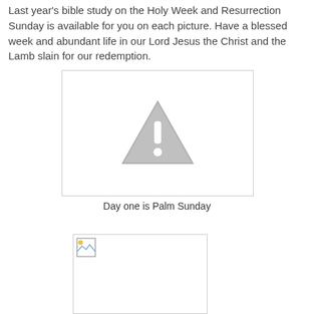Last year's bible study on the Holy Week and Resurrection Sunday is available for you on each picture. Have a blessed week and abundant life in our Lord Jesus the Christ and the Lamb slain for our redemption.
[Figure (illustration): Placeholder image box with a grey warning/error triangle icon (exclamation mark) indicating a missing or unavailable image.]
Day one is Palm Sunday
[Figure (photo): Partially loaded or broken image thumbnail with a small image icon in the top-left corner.]